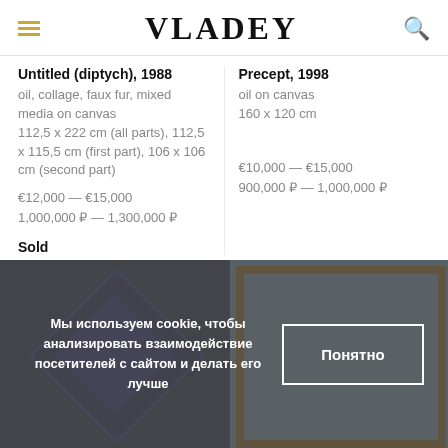VLADEY
Untitled (diptych), 1988
oil, collage, faux fur, mixed media on canvas
112,5 x 222 cm (all parts), 112,5 x 115,5 cm (first part), 106 x 106 cm (second part)
€12,000 — €15,000
1,000,000 ₽ — 1,300,000 ₽
Sold
Precept, 1998
oil on canvas
160 x 120 cm
€10,000 — €15,000
900,000 ₽ — 1,000,000 ₽
[Figure (photo): Two artworks displayed at bottom of page: left is a dark blue diamond-shaped painting, right is a colorful painting in golden frame showing street scene]
Мы используем cookie, чтобы анализировать взаимодействие посетителей с сайтом и делать его лучше
Понятно